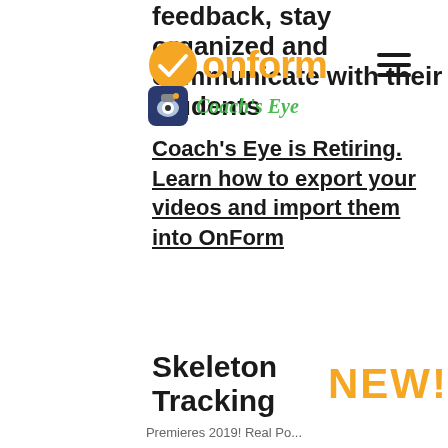feedback, stay organized and communicate with their students
[Figure (logo): OnForm logo — orange circular icon with stylized checkmark and 'onform' wordmark in orange bold text]
[Figure (logo): Coach's Eye app icon — camera icon with 'Coach's Eye' green italic text label]
Coach's Eye is Retiring. Learn how to export your videos and import them into OnForm
Skeleton Tracking NEW!
Premieres 2019! Real Pos...